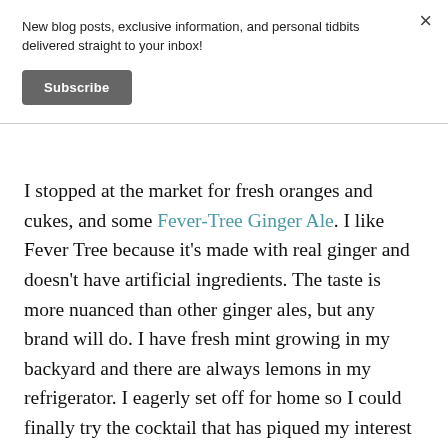New blog posts, exclusive information, and personal tidbits delivered straight to your inbox!
Subscribe
I stopped at the market for fresh oranges and cukes, and some Fever-Tree Ginger Ale. I like Fever Tree because it’s made with real ginger and doesn’t have artificial ingredients. The taste is more nuanced than other ginger ales, but any brand will do. I have fresh mint growing in my backyard and there are always lemons in my refrigerator. I eagerly set off for home so I could finally try the cocktail that has piqued my interest for so long.
I was very happy with the result, and can understand